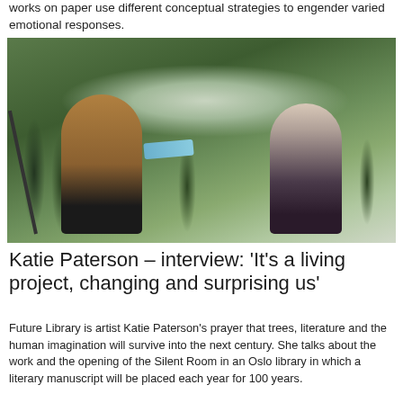works on paper use different conceptual strategies to engender varied emotional responses.
[Figure (photo): Two people outdoors in a forest setting. A man with grey hair in a brown jacket stands at a microphone stand on the left, smiling and handing a blue book/manuscript to a blonde woman in a floral dress on the right. Trees visible in background.]
Katie Paterson – interview: 'It's a living project, changing and surprising us'
Future Library is artist Katie Paterson's prayer that trees, literature and the human imagination will survive into the next century. She talks about the work and the opening of the Silent Room in an Oslo library in which a literary manuscript will be placed each year for 100 years.